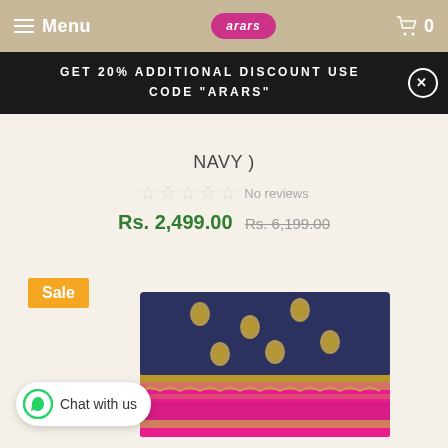Menu | arars | 0
GET 20% ADDITIONAL DISCOUNT USE CODE "ARARS"
NAVY )
☆☆☆☆☆ No reviews
Rs. 2,499.00  Rs. 6,199.00
Sale
[Figure (photo): Folded navy blue saree with gold motifs on top, with a hot pink and gold woven border section at the bottom.]